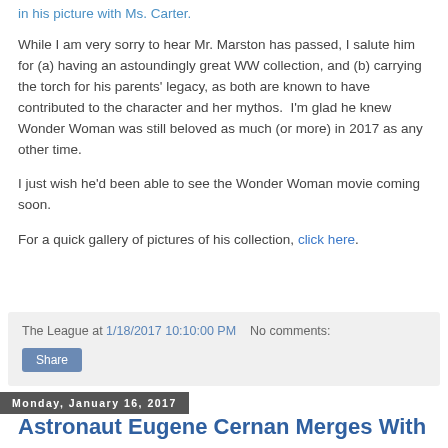in his picture with Ms. Carter.
While I am very sorry to hear Mr. Marston has passed, I salute him for (a) having an astoundingly great WW collection, and (b) carrying the torch for his parents' legacy, as both are known to have contributed to the character and her mythos.  I'm glad he knew Wonder Woman was still beloved as much (or more) in 2017 as any other time.
I just wish he'd been able to see the Wonder Woman movie coming soon.
For a quick gallery of pictures of his collection, click here.
The League at 1/18/2017 10:10:00 PM   No comments:
Share
Monday, January 16, 2017
Astronaut Eugene Cernan Merges With